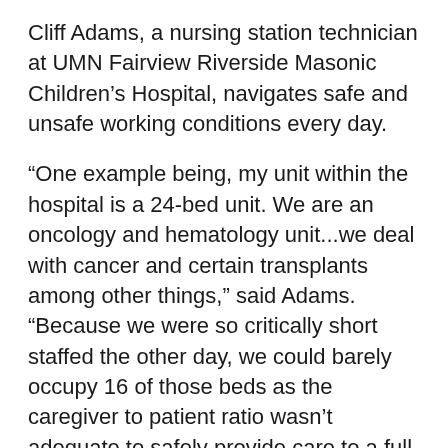Cliff Adams, a nursing station technician at UMN Fairview Riverside Masonic Children's Hospital, navigates safe and unsafe working conditions every day.
“One example being, my unit within the hospital is a 24-bed unit. We are an oncology and hematology unit...we deal with cancer and certain transplants among other things,” said Adams. “Because we were so critically short staffed the other day, we could barely occupy 16 of those beds as the caregiver to patient ratio wasn’t adequate to safely provide care to a full unit. That meant that 8 beds—8 kids—did not have an opportunity to be properly cared for.”
On Tuesday, SEIU Healthcare Minnesota (@SEIUHCM) held a virtual press conference calling